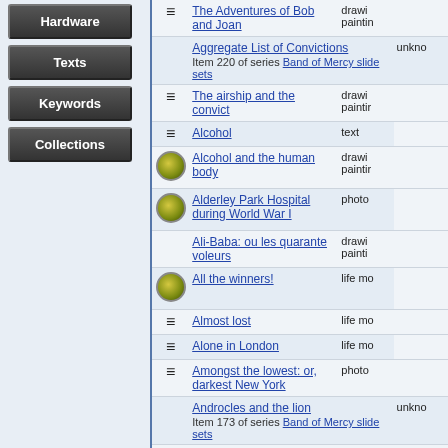Hardware
Texts
Keywords
Collections
| Icon | Title | Type |
| --- | --- | --- |
| [text-icon] | The Adventures of Bob and Joan | drawings / paintings |
|  | Aggregate List of Convictions
Item 220 of series Band of Mercy slide sets | unknown |
| [text-icon] | The airship and the convict | drawings / paintings |
| [text-icon] | Alcohol | text |
| [thumb] | Alcohol and the human body | drawings / paintings |
| [thumb] | Alderley Park Hospital during World War I | photo |
|  | Ali-Baba: ou les quarante voleurs | drawings / paintings |
| [thumb] | All the winners! | life mo |
| [text-icon] | Almost lost | life mo |
| [text-icon] | Alone in London | life mo |
| [text-icon] | Amongst the lowest: or, darkest New York | photo |
|  | Androcles and the lion
Item 173 of series Band of Mercy slide sets | unknown |
|  | ANGELL, T., Boston, U.S.: The originator od the Society's educational Work
Item 151 of series Band of Mercy slide sets | unknown |
|  | Animal's Appeal | unknown |